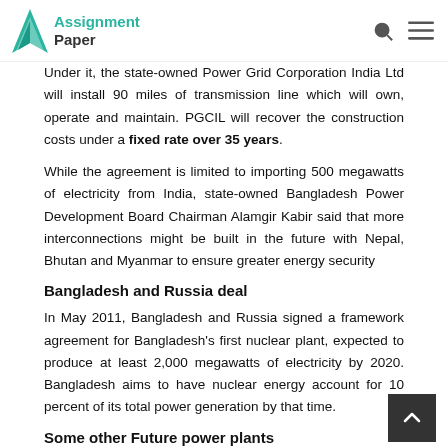Assignment Paper
Under it, the state-owned Power Grid Corporation India Ltd will install 90 miles of transmission line which will own, operate and maintain. PGCIL will recover the construction costs under a fixed rate over 35 years.
While the agreement is limited to importing 500 megawatts of electricity from India, state-owned Bangladesh Power Development Board Chairman Alamgir Kabir said that more interconnections might be built in the future with Nepal, Bhutan and Myanmar to ensure greater energy security
Bangladesh and Russia deal
In May 2011, Bangladesh and Russia signed a framework agreement for Bangladesh's first nuclear plant, expected to produce at least 2,000 megawatts of electricity by 2020. Bangladesh aims to have nuclear energy account for 10 percent of its total power generation by that time.
Some other Future power plants
Govern take a plan to produce  4500MW more power by in